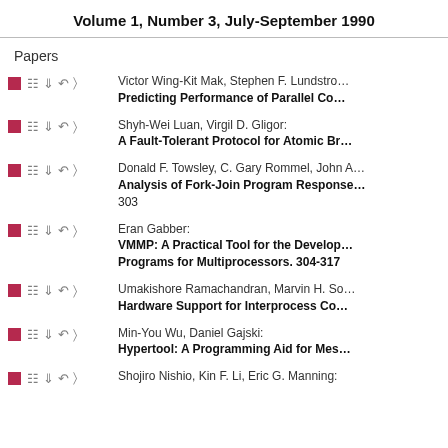Volume 1, Number 3, July-September 1990
Papers
Victor Wing-Kit Mak, Stephen F. Lundstrom: Predicting Performance of Parallel Computers
Shyh-Wei Luan, Virgil D. Gligor: A Fault-Tolerant Protocol for Atomic Broadcast
Donald F. Towsley, C. Gary Rommel, John A.: Analysis of Fork-Join Program Responses 303
Eran Gabber: VMMP: A Practical Tool for the Development of Programs for Multiprocessors. 304-317
Umakishore Ramachandran, Marvin H. So: Hardware Support for Interprocess Communication
Min-You Wu, Daniel Gajski: Hypertool: A Programming Aid for Message
Shojiro Nishio, Kin F. Li, Eric G. Manning: